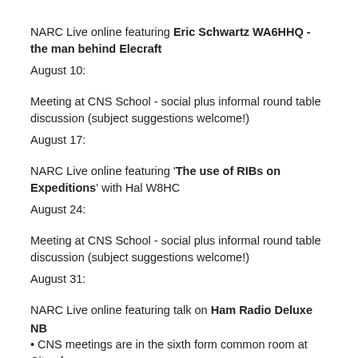NARC Live online featuring Eric Schwartz WA6HHQ - the man behind Elecraft
August 10:
Meeting at CNS School - social plus informal round table discussion (subject suggestions welcome!)
August 17:
NARC Live online featuring 'The use of RIBs on Expeditions' with Hal W8HC
August 24:
Meeting at CNS School - social plus informal round table discussion (subject suggestions welcome!)
August 31:
NARC Live online featuring talk on Ham Radio Deluxe
NB
• CNS meetings are in the sixth form common room at City of